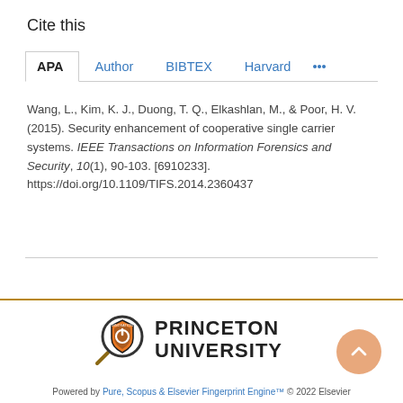Cite this
APA | Author | BIBTEX | Harvard | ...
Wang, L., Kim, K. J., Duong, T. Q., Elkashlan, M., & Poor, H. V. (2015). Security enhancement of cooperative single carrier systems. IEEE Transactions on Information Forensics and Security, 10(1), 90-103. [6910233]. https://doi.org/10.1109/TIFS.2014.2360437
[Figure (logo): Princeton University logo with magnifying glass icon and bold text PRINCETON UNIVERSITY]
Powered by Pure, Scopus & Elsevier Fingerprint Engine™ © 2022 Elsevier